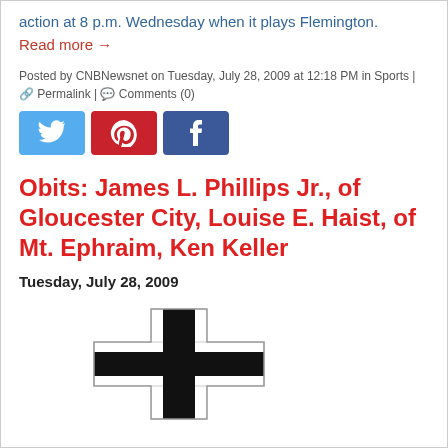action at 8 p.m. Wednesday when it plays Flemington.
Read more →
Posted by CNBNewsnet on Tuesday, July 28, 2009 at 12:18 PM in Sports |
🔗 Permalink | 💬 Comments (0)
[Figure (other): Social media share buttons: Twitter (blue), Pinterest (red), Facebook (blue)]
Obits: James L. Phillips Jr., of Gloucester City, Louise E. Haist, of Mt. Ephraim, Ken Keller
Tuesday, July 28, 2009
[Figure (illustration): A Christian cross illustration with thick black vertical and horizontal bars on a white background with outlined edges]